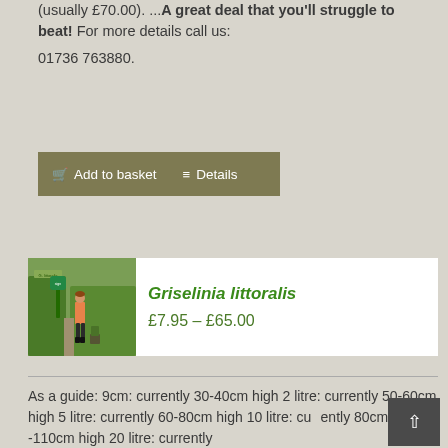(usually £70.00). ...A great deal that you'll struggle to beat! For more details call us: 01736 763880.
Add to basket   Details
[Figure (photo): Photo of a woman standing next to Griselinia littoralis hedge plants in a nursery garden setting.]
Griselinia littoralis
£7.95 – £65.00
As a guide: 9cm: currently 30-40cm high 2 litre: currently 50-60cm high 5 litre: currently 60-80cm high 10 litre: currently 80cm -110cm high 20 litre: currently